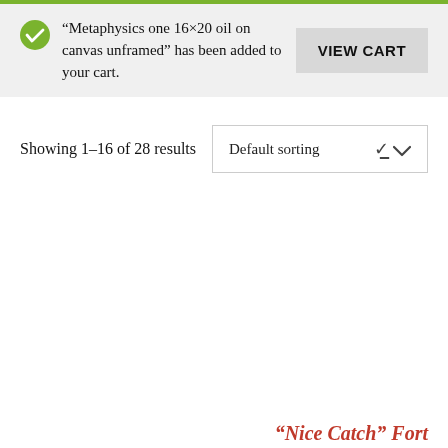“Metaphysics one 16×20 oil on canvas unframed” has been added to your cart.
VIEW CART
Showing 1–16 of 28 results
Default sorting
“Nice Catch” Fort